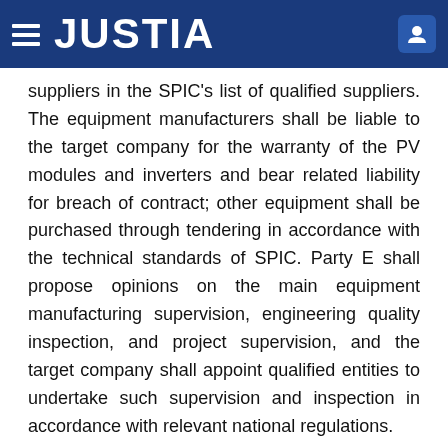JUSTIA
suppliers in the SPIC's list of qualified suppliers. The equipment manufacturers shall be liable to the target company for the warranty of the PV modules and inverters and bear related liability for breach of contract; other equipment shall be purchased through tendering in accordance with the technical standards of SPIC. Party E shall propose opinions on the main equipment manufacturing supervision, engineering quality inspection, and project supervision, and the target company shall appoint qualified entities to undertake such supervision and inspection in accordance with relevant national regulations.
5.5  Before Party A initiates the M&A of the target company, Party B shall, in the name of the target company, carry out project financing from banks